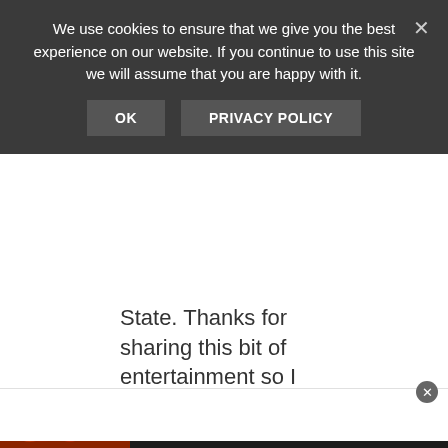We use cookies to ensure that we give you the best experience on our website. If you continue to use this site we will assume that you are happy with it.
OK   PRIVACY POLICY
State. Thanks for sharing this bit of entertainment so I could armchair travel today!
REPLY
Buddy